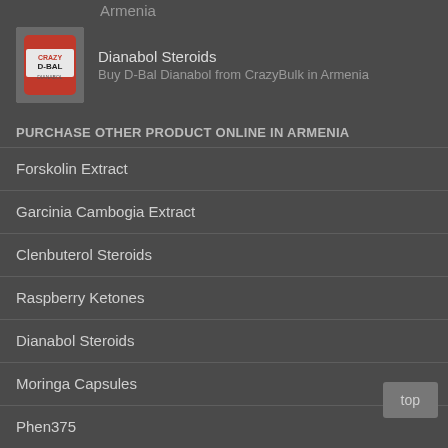Armenia
[Figure (photo): Product image of D-Bal Dianabol supplement bottle with red label]
Dianabol Steroids
Buy D-Bal Dianabol from CrazyBulk in Armenia
PURCHASE OTHER PRODUCT ONLINE IN ARMENIA
Forskolin Extract
Garcinia Cambogia Extract
Clenbuterol Steroids
Raspberry Ketones
Dianabol Steroids
Moringa Capsules
Phen375
Green Coffee Bean Extract
top